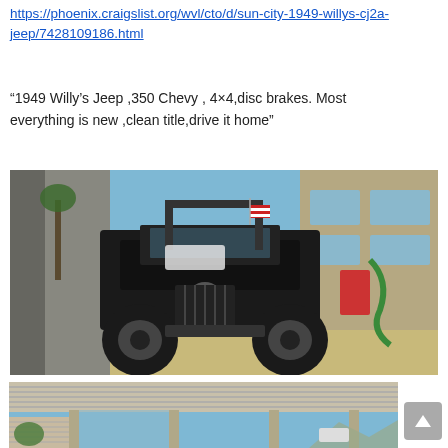https://phoenix.craigslist.org/wvl/cto/d/sun-city-1949-willys-cj2a-jeep/7428109186.html
“1949 Willy’s Jeep ,350 Chevy , 4×4,disc brakes. Most everything is new ,clean title,drive it home”
[Figure (photo): Photo of a dark/black 1949 Willys CJ2A jeep parked in a driveway next to a building, with large off-road tires, a roll bar, and a green hose visible in the background. A white car is visible in the background.]
[Figure (photo): Photo showing a metal carport/awning structure with corrugated roof panels and support columns, under a clear blue sky.]